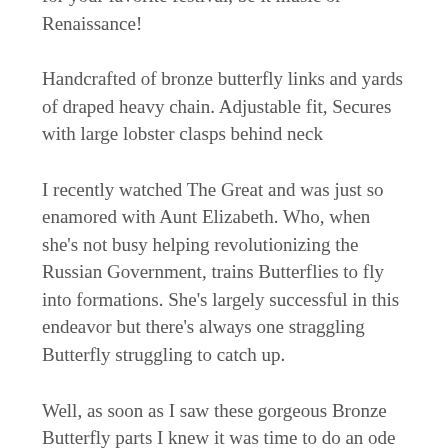for your favorite festival, be it music or Renaissance!
Handcrafted of bronze butterfly links and yards of draped heavy chain. Adjustable fit, Secures with large lobster clasps behind neck
I recently watched The Great and was just so enamored with Aunt Elizabeth. Who, when she's not busy helping revolutionizing the Russian Government, trains Butterflies to fly into formations. She's largely successful in this endeavor but there's always one straggling Butterfly struggling to catch up.
Well, as soon as I saw these gorgeous Bronze Butterfly parts I knew it was time to do an ode to Aunt Elizabeth.
From the formation of Butterflies encircling your decolletage and shoulders, to the swooping chains that to